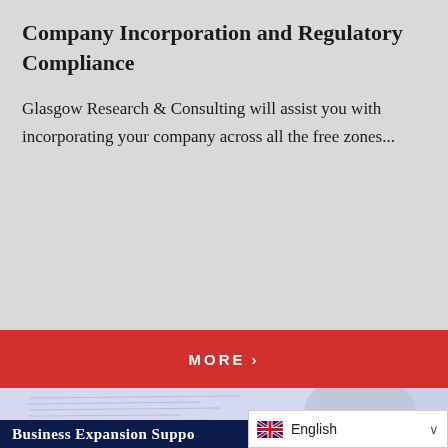Company Incorporation and Regulatory Compliance
Glasgow Research & Consulting will assist you with incorporating your company across all the free zones...
[Figure (other): Red button with white text 'MORE ›']
[Figure (photo): Person signing a document with a fountain pen, blue-tinted photograph]
Business Expansion Suppo...
[Figure (other): Language selector widget showing UK flag and 'English' text with dropdown arrow]